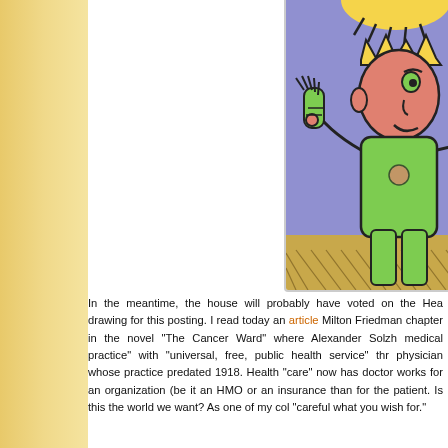[Figure (illustration): Colorful cartoon illustration of a stylized humanoid figure wearing a crown, dressed in green, with a pink face, raised hands, standing on a gold/tan ground against a purple background. Another figure partially visible on the right.]
In the meantime, the house will probably have voted on the Hea... drawing for this posting. I read today an article Milton Friedman... chapter in the novel "The Cancer Ward" where Alexander Solzh... medical practice" with "universal, free, public health service" thr... physician whose practice predated 1918. Health "care" now has... doctor works for an organization (be it an HMO or an insurance... than for the patient. Is this the world we want? As one of my col... "careful what you wish for."